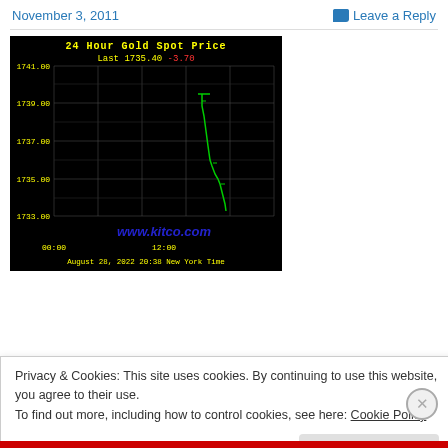November 3, 2011   Leave a Reply
[Figure (continuous-plot): 24 Hour Gold Spot Price chart from kitco.com. Last price 1735.40, change -3.70. Y-axis ranges from 1733.00 to 1741.00. X-axis from 00:00 to 12:00. Data timestamp: August 28, 2022 20:38 New York Time. Green line shows price spike up to ~1739 then dropping to ~1735.]
Privacy & Cookies: This site uses cookies. By continuing to use this website, you agree to their use.
To find out more, including how to control cookies, see here: Cookie Policy